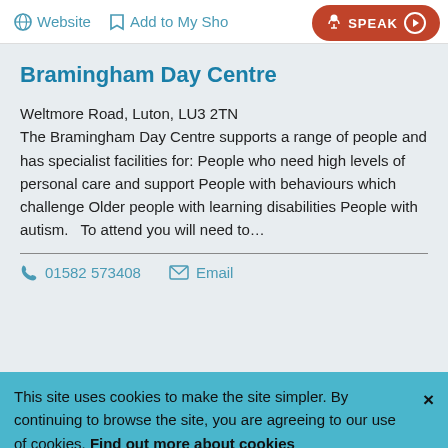Website   Add to My Sho...   SPEAK
Bramingham Day Centre
Weltmore Road, Luton, LU3 2TN
The Bramingham Day Centre supports a range of people and has specialist facilities for: People who need high levels of personal care and support People with behaviours which challenge Older people with learning disabilities People with autism.   To attend you will need to…
01582 573408   Email
This site uses cookies to make the site simpler. By continuing to browse the site, you are agreeing to our use of cookies. Find out more about cookies